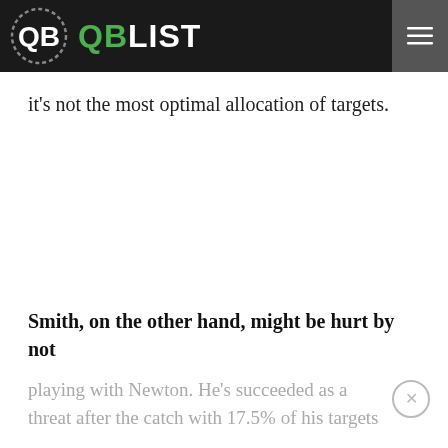QB LIST
it's not the most optimal allocation of targets.
Smith, on the other hand, might be hurt by not
playing with Newton. He's succeeded as a threat after the catch with 17.5% of his targets